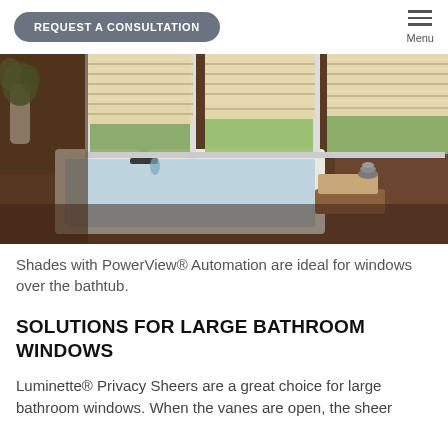REQUEST A CONSULTATION  Menu
[Figure (photo): Luxury bathroom with a rectangular built-in bathtub set in dark granite/marble surround. Above the tub are three large windows covered with cream/beige Roman shades with PowerView Automation. A plant is visible at the left, and a wooden tray with folded towels and stacked stones sits on the tub surround.]
Shades with PowerView® Automation are ideal for windows over the bathtub.
SOLUTIONS FOR LARGE BATHROOM WINDOWS
Luminette® Privacy Sheers are a great choice for large bathroom windows. When the vanes are open, the sheer